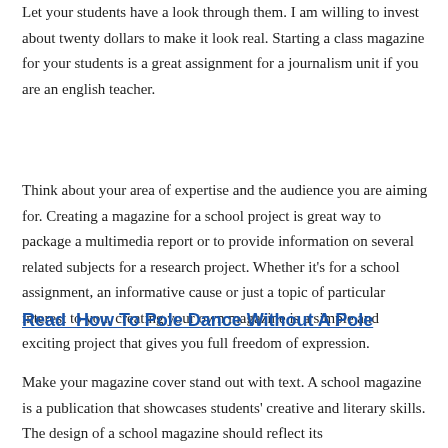Let your students have a look through them. I am willing to invest about twenty dollars to make it look real. Starting a class magazine for your students is a great assignment for a journalism unit if you are an english teacher.
Think about your area of expertise and the audience you are aiming for. Creating a magazine for a school project is great way to package a multimedia report or to provide information on several related subjects for a research project. Whether it's for a school assignment, an informative cause or just a topic of particular interest to you, creating your own magazine is a simple and exciting project that gives you full freedom of expression.
Read  How To Pole Dance Without A Pole
Make your magazine cover stand out with text. A school magazine is a publication that showcases students' creative and literary skills. The design of a school magazine should reflect its...